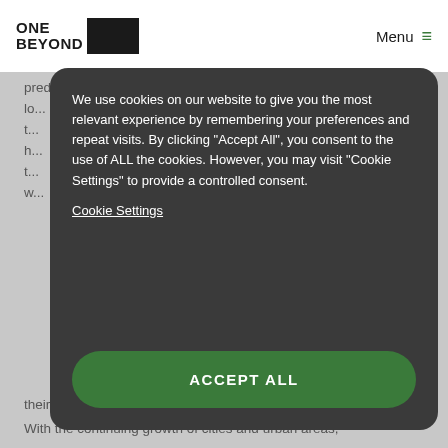ONE BEYOND | Menu
predictions of future life. Looking back now, we can lo... t... h... t... w...
We use cookies on our website to give you the most relevant experience by remembering your preferences and repeat visits. By clicking "Accept All", you consent to the use of ALL the cookies. However, you may visit "Cookie Settings" to provide a controlled consent.
Cookie Settings
ACCEPT ALL
their own energy consumption.
With the continuing growth of cities and urban areas,